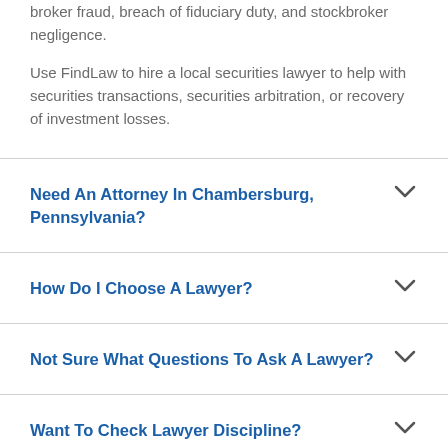broker fraud, breach of fiduciary duty, and stockbroker negligence.

Use FindLaw to hire a local securities lawyer to help with securities transactions, securities arbitration, or recovery of investment losses.
Need An Attorney In Chambersburg, Pennsylvania?
How Do I Choose A Lawyer?
Not Sure What Questions To Ask A Lawyer?
Want To Check Lawyer Discipline?